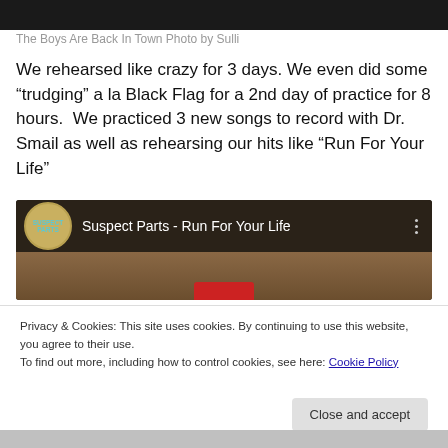[Figure (photo): Dark photo strip at top of page, partial image of people]
The Boys Are Back In Town Photo by Sulli
We rehearsed like crazy for 3 days. We even did some “trudging” a la Black Flag for a 2nd day of practice for 8 hours.  We practiced 3 new songs to record with Dr. Smail as well as rehearsing our hits like “Run For Your Life”
[Figure (screenshot): YouTube video embed showing 'Suspect Parts - Run For Your Life' with channel avatar and video thumbnail showing person's face]
Privacy & Cookies: This site uses cookies. By continuing to use this website, you agree to their use.
To find out more, including how to control cookies, see here: Cookie Policy
Close and accept